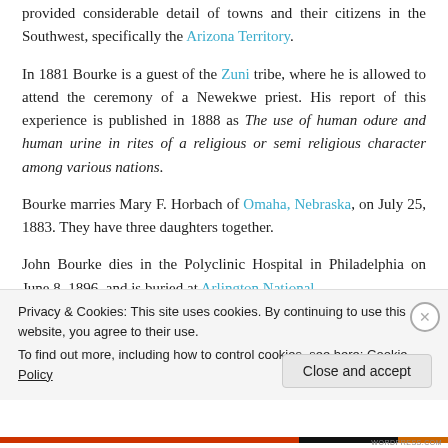provided considerable detail of towns and their citizens in the Southwest, specifically the Arizona Territory.
In 1881 Bourke is a guest of the Zuni tribe, where he is allowed to attend the ceremony of a Newekwe priest. His report of this experience is published in 1888 as The use of human odure and human urine in rites of a religious or semi religious character among various nations.
Bourke marries Mary F. Horbach of Omaha, Nebraska, on July 25, 1883. They have three daughters together.
John Bourke dies in the Polyclinic Hospital in Philadelphia on June 8, 1896, and is buried at Arlington National
Privacy & Cookies: This site uses cookies. By continuing to use this website, you agree to their use.
To find out more, including how to control cookies, see here: Cookie Policy
Close and accept